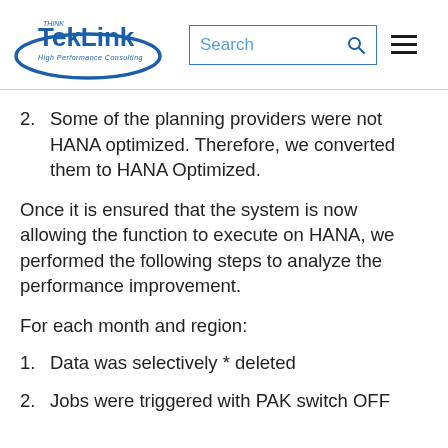TekLink - High Performance Consulting
2. Some of the planning providers were not HANA optimized. Therefore, we converted them to HANA Optimized.
Once it is ensured that the system is now allowing the function to execute on HANA, we performed the following steps to analyze the performance improvement.
For each month and region:
1. Data was selectively * deleted
2. Jobs were triggered with PAK switch OFF